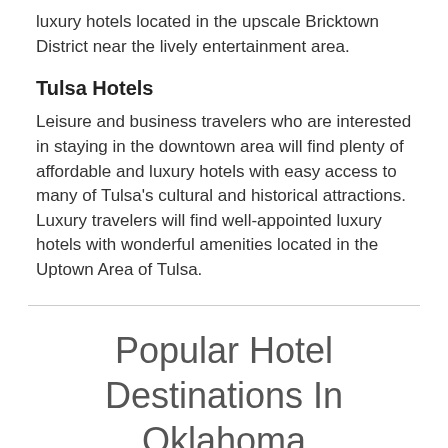luxury hotels located in the upscale Bricktown District near the lively entertainment area.
Tulsa Hotels
Leisure and business travelers who are interested in staying in the downtown area will find plenty of affordable and luxury hotels with easy access to many of Tulsa's cultural and historical attractions.  Luxury travelers will find well-appointed luxury hotels with wonderful amenities located in the Uptown Area of Tulsa.
Popular Hotel Destinations In Oklahoma